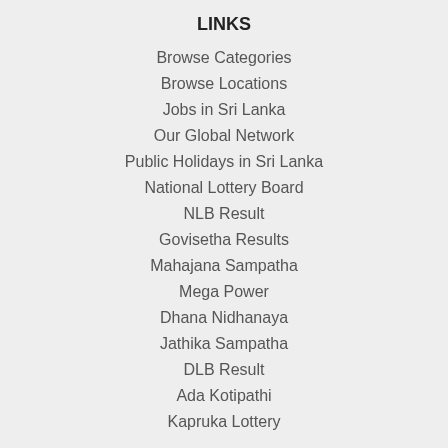LINKS
Browse Categories
Browse Locations
Jobs in Sri Lanka
Our Global Network
Public Holidays in Sri Lanka
National Lottery Board
NLB Result
Govisetha Results
Mahajana Sampatha
Mega Power
Dhana Nidhanaya
Jathika Sampatha
DLB Result
Ada Kotipathi
Kapruka Lottery